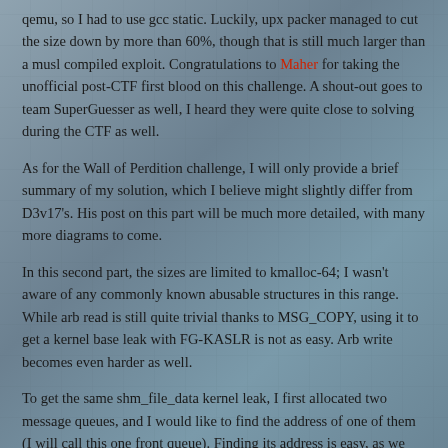qemu, so I had to use gcc static. Luckily, upx packer managed to cut the size down by more than 60%, though that is still much larger than a musl compiled exploit. Congratulations to Maher for taking the unofficial post-CTF first blood on this challenge. A shout-out goes to team SuperGuesser as well, I heard they were quite close to solving during the CTF as well.
As for the Wall of Perdition challenge, I will only provide a brief summary of my solution, which I believe might slightly differ from D3v17's. His post on this part will be much more detailed, with many more diagrams to come.
In this second part, the sizes are limited to kmalloc-64; I wasn't aware of any commonly known abusable structures in this range. While arb read is still quite trivial thanks to MSG_COPY, using it to get a kernel base leak with FG-KASLR is not as easy. Arb write becomes even harder as well.
To get the same shm_file_data kernel leak, I first allocated two message queues, and I would like to find the address of one of them (I will call this one front queue). Finding its address is easy, as we can just spray msg_msg structs in the same queue (beware